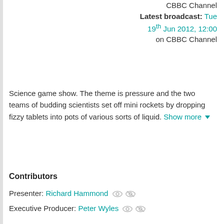CBBC Channel
Latest broadcast: Tue 19th Jun 2012, 12:00 on CBBC Channel
Science game show. The theme is pressure and the two teams of budding scientists set off mini rockets by dropping fizzy tablets into pots of various sorts of liquid. Show more ▼
Contributors
Presenter: Richard Hammond
Executive Producer: Peter Wyles
Genres
Children's / Entertainment & Comedy
Formats
Games & Quizzes